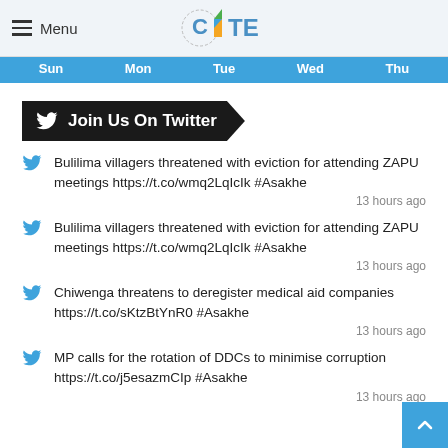Menu | CITE
[Figure (other): Day navigation bar showing Sun, Mon, Tue, Wed, Thu days of the week in blue]
Join Us On Twitter
Bulilima villagers threatened with eviction for attending ZAPU meetings https://t.co/wmq2LqIcIk #Asakhe — 13 hours ago
Bulilima villagers threatened with eviction for attending ZAPU meetings https://t.co/wmq2LqIcIk #Asakhe — 13 hours ago
Chiwenga threatens to deregister medical aid companies https://t.co/sKtzBtYnR0 #Asakhe — 13 hours ago
MP calls for the rotation of DDCs to minimise corruption https://t.co/j5esazmCIp #Asakhe — 13 hours ago